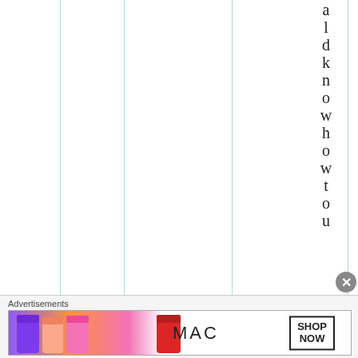[Figure (other): Table or spreadsheet grid with vertical column lines and vertical rotated text reading 'ldknowhowto u' on the right side, one character per row]
Advertisements
[Figure (other): MAC cosmetics advertisement banner showing lipsticks in purple, pink, coral colors with MAC logo and SHOP NOW button]